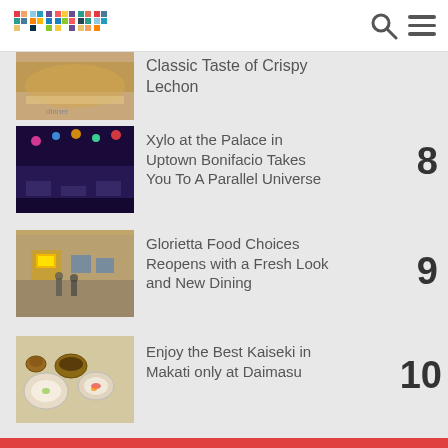primer
[Figure (photo): Food photo showing crispy lechon on a plate]
Classic Taste of Crispy Lechon
[Figure (photo): Interior of Xylo at the Palace restaurant with colorful lights]
Xylo at the Palace in Uptown Bonifacio Takes You To A Parallel Universe
[Figure (photo): Glorietta Food Choices restaurant interior with yellow signage]
Glorietta Food Choices Reopens with a Fresh Look and New Dining
[Figure (photo): Japanese kaiseki meal spread with multiple dishes]
Enjoy the Best Kaiseki in Makati only at Daimasu